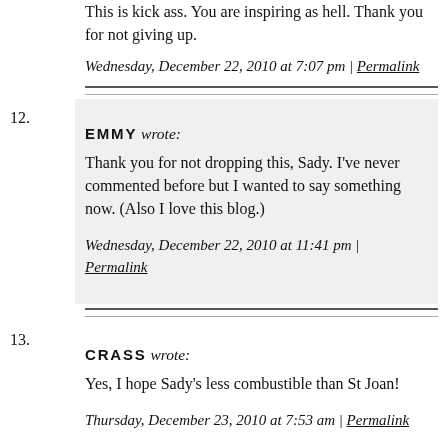This is kick ass. You are inspiring as hell. Thank you for not giving up.
Wednesday, December 22, 2010 at 7:07 pm | Permalink
12. EMMY wrote: Thank you for not dropping this, Sady. I've never commented before but I wanted to say something now. (Also I love this blog.) Wednesday, December 22, 2010 at 11:41 pm | Permalink
13. CRASS wrote: Yes, I hope Sady's less combustible than St Joan! Thursday, December 23, 2010 at 7:53 am | Permalink